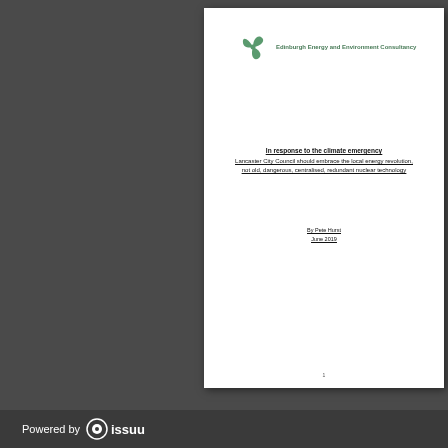[Figure (logo): Edinburgh Energy and Environment Consultancy logo - green three-blade fan/propeller icon with company name in green text]
In response to the climate emergency
Lancaster City Council should embrace the local energy revolution, not old, dangerous, centralised, redundant nuclear technology
By Pete Hurst
June 2019
1